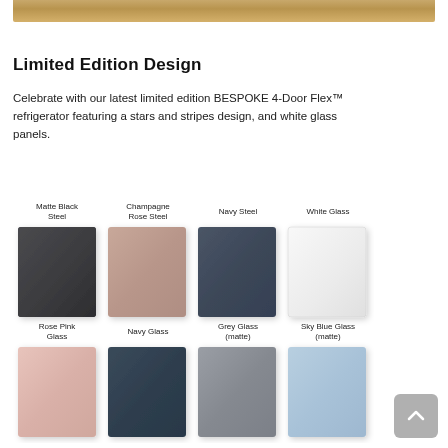[Figure (photo): Partial top image showing a wood-toned surface or countertop]
Limited Edition Design
Celebrate with our latest limited edition BESPOKE 4-Door Flex™ refrigerator featuring a stars and stripes design, and white glass panels.
[Figure (illustration): Color swatch panel showing four refrigerator panel options in top row (Matte Black Steel, Champagne Rose Steel, Navy Steel, White Glass) and four in bottom row (Rose Pink Glass, Navy Glass, Grey Glass (matte), Sky Blue Glass (matte))]